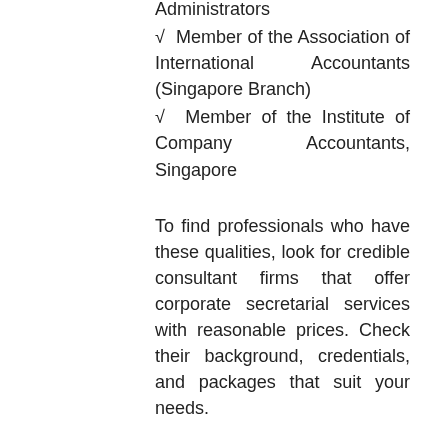Administrators
√  Member of the Association of International Accountants (Singapore Branch)
√  Member of the Institute of Company Accountants, Singapore
To find professionals who have these qualities, look for credible consultant firms that offer corporate secretarial services with reasonable prices. Check their background, credentials, and packages that suit your needs.
Lastly, make sure they understand your industry, your business objectives, and your needs as an entrepreneur.